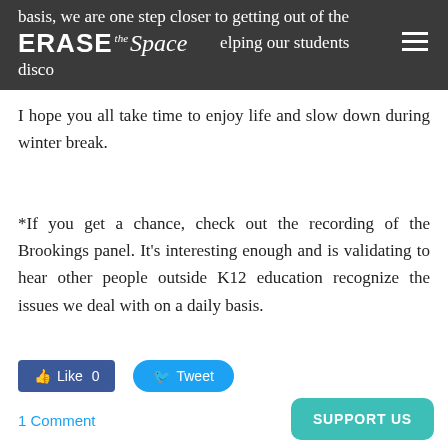ERASE the Space
basis, we are one step closer to getting out of the way and helping our students discover their own way out.
I hope you all take time to enjoy life and slow down during winter break.
*If you get a chance, check out the recording of the Brookings panel. It's interesting enough and is validating to hear other people outside K12 education recognize the issues we deal with on a daily basis.
Like 0   Tweet
1 Comment
SUPPORT US